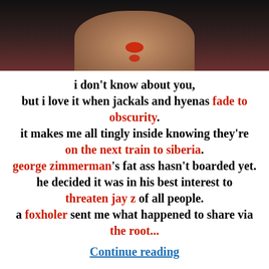[Figure (photo): Close-up photo of a man with blood around his nose and mouth, wearing an orange hoodie, dark background]
i don't know about you, but i love it when jackals and hyenas fade to obscurity. it makes me all tingly inside knowing they're on the next train to siberia. george zimmerman's fat ass hasn't boarded yet. he decided it was in his best interest to threaten jay z of all people. a foxholer sent me what happened to share via the root...
Continue reading